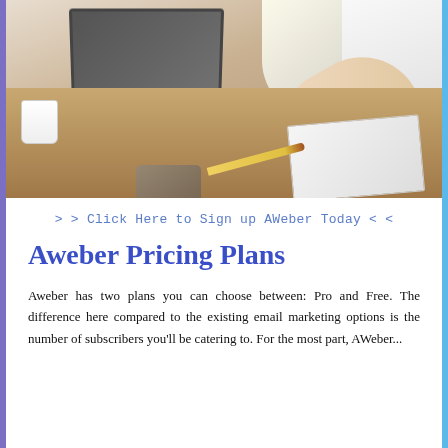[Figure (photo): Person working on a laptop at a desk, with a notebook, pencil, coffee cup, and tablet visible. Bright window light in the background.]
> > Click Here to Sign up AWeber Today < <
Aweber Pricing Plans
Aweber has two plans you can choose between: Pro and Free. The difference here compared to the existing email marketing options is the number of subscribers you'll be catering to. For the most part, AWeber...